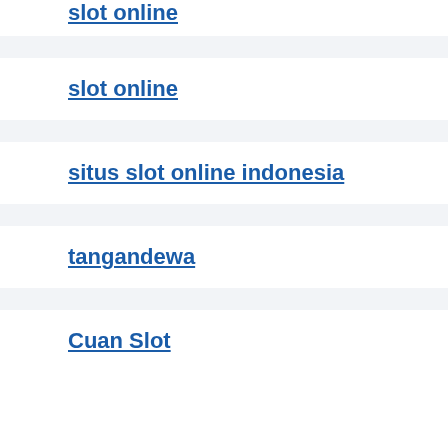slot online
slot online
situs slot online indonesia
tangandewa
Cuan Slot